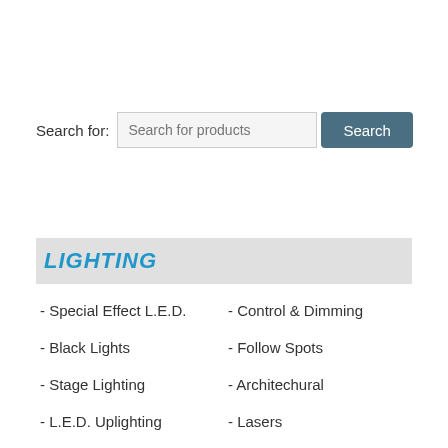Search for: Search for products Search
LIGHTING
- Special Effect L.E.D.
- Control & Dimming
- Black Lights
- Follow Spots
- Stage Lighting
- Architechural
- L.E.D. Uplighting
- Lasers
- Light Bulbs